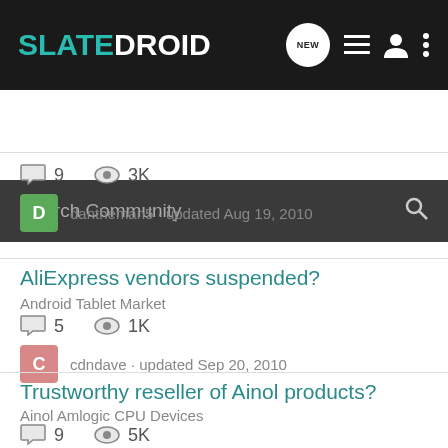SLATEDROID
Search Community
9 comments, 3K views, dantheman5 · updated Aug 19, 2010
AliExpress vendors suspended?
Android Tablet Market
5 comments, 1K views, cdndave · updated Sep 20, 2010
Trustworthy reseller of Ainol products?
Ainol Amlogic CPU Devices
9 comments, 5K views